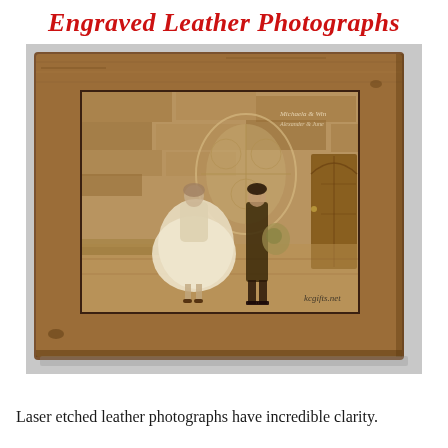Engraved Leather Photographs
[Figure (photo): A laser-engraved leather photograph mounted in a rustic wooden frame, showing a bride and groom kissing in front of a stone wall and arched wooden door. The leather engraving has a sepia/burned tone. A watermark reads 'kcgifts.net' in the lower right corner.]
Laser etched leather photographs have incredible clarity.